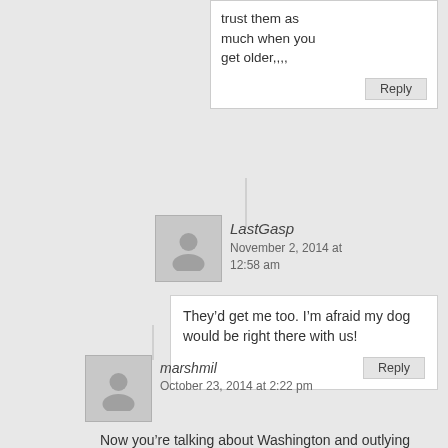trust them as much when you get older,,,,
Reply
LastGasp
November 2, 2014 at 12:58 am
They’d get me too. I’m afraid my dog would be right there with us!
Reply
marshmil
October 23, 2014 at 2:22 pm
Now you’re talking about Washington and outlying federal bureaucracies. And on the state level consider the recent attempts by Mayor of Austin Texas to control the Christian clergy. Speaking of